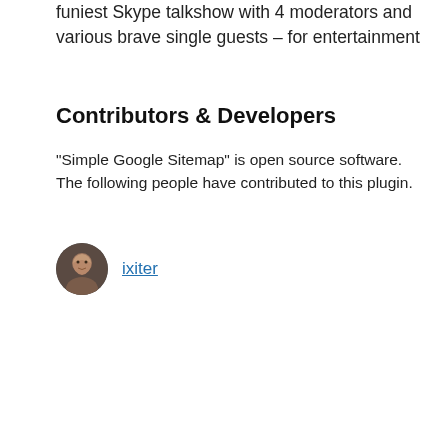funiest Skype talkshow with 4 moderators and various brave single guests – for entertainment
Contributors & Developers
“Simple Google Sitemap” is open source software. The following people have contributed to this plugin.
[Figure (photo): Round avatar photo of contributor ixiter with a link label]
| Label | Value |
| --- | --- |
| Version: | 1.6 |
| Last updated: | 13 гадоў ago |
| Active installations: | 1.000+ |
| WordPress Version: | 2.7 or higher |